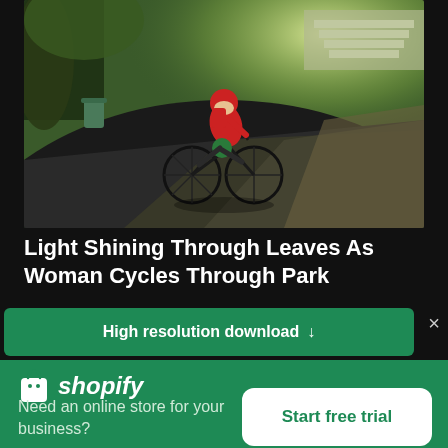[Figure (photo): A woman in a red jacket riding a bicycle through a park path, with sunlight shining through tree leaves in the background. Green grass and park infrastructure visible.]
Light Shining Through Leaves As Woman Cycles Through Park
High resolution download ↓
[Figure (logo): Shopify logo — shopping bag icon with 'shopify' text in italic white font]
Need an online store for your business?
Start free trial